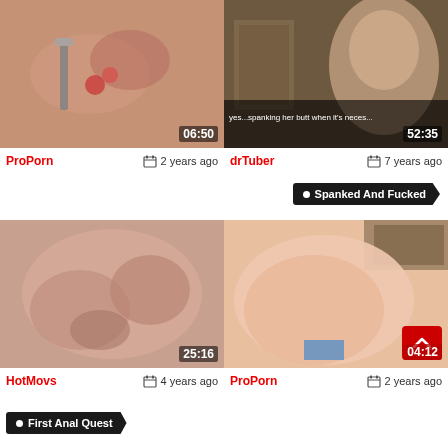[Figure (screenshot): Video thumbnail 1 with duration 06:50]
[Figure (screenshot): Video thumbnail 2 with duration 52:35 and subtitle text]
ProPorn   2 years ago
drTuber   7 years ago
Spanked And Fucked
[Figure (screenshot): Video thumbnail 3 with duration 25:16]
[Figure (screenshot): Video thumbnail 4 with duration 04:12 and scroll-up button]
HotMovs   4 years ago
ProPorn   2 years ago
First Anal Quest